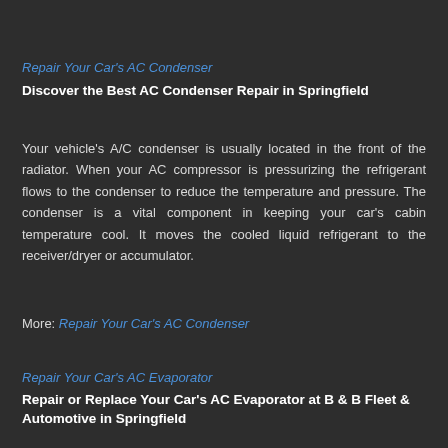Repair Your Car's AC Condenser
Discover the Best AC Condenser Repair in Springfield
Your vehicle's A/C condenser is usually located in the front of the radiator. When your AC compressor is pressurizing the refrigerant flows to the condenser to reduce the temperature and pressure. The condenser is a vital component in keeping your car's cabin temperature cool. It moves the cooled liquid refrigerant to the receiver/dryer or accumulator.
More: Repair Your Car's AC Condenser
Repair Your Car's AC Evaporator
Repair or Replace Your Car's AC Evaporator at B & B Fleet & Automotive in Springfield